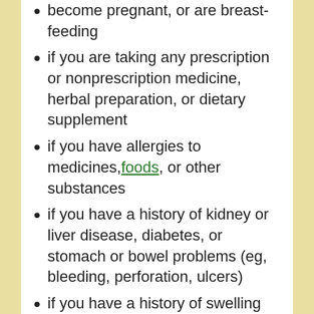become pregnant, or are breast-feeding
if you are taking any prescription or nonprescription medicine, herbal preparation, or dietary supplement
if you have allergies to medicines, foods, or other substances
if you have a history of kidney or liver disease, diabetes, or stomach or bowel problems (eg, bleeding, perforation, ulcers)
if you have a history of swelling